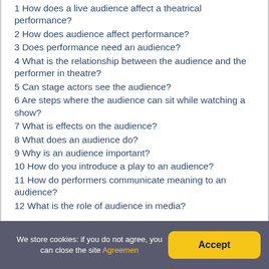1 How does a live audience affect a theatrical performance?
2 How does audience affect performance?
3 Does performance need an audience?
4 What is the relationship between the audience and the performer in theatre?
5 Can stage actors see the audience?
6 Are steps where the audience can sit while watching a show?
7 What is effects on the audience?
8 What does an audience do?
9 Why is an audience important?
10 How do you introduce a play to an audience?
11 How do performers communicate meaning to an audience?
12 What is the role of audience in media?
We store cookies: if you do not agree, you can close the site Agreemen
Accept